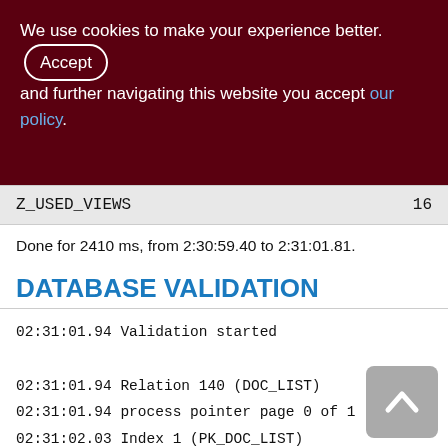We use cookies to make your experience better. By accepting and further navigating this website you accept our policy.
| Z_USED_VIEWS | 16 |
Done for 2410 ms, from 2:30:59.40 to 2:31:01.81.
DATABASE VALIDATION
02:31:01.94 Validation started

02:31:01.94 Relation 140 (DOC_LIST)
02:31:01.94 process pointer page 0 of 1
02:31:02.03 Index 1 (PK_DOC_LIST)
02:31:02.06 Index 2 (DOC_LIST_ID_DESC)
02:31:02.08 Index 3 (FK_DOC_LIST_AGENTS)